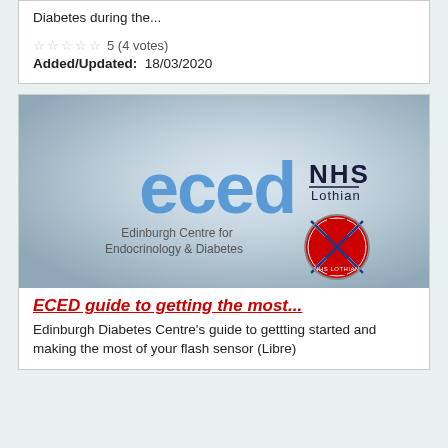Diabetes during the...
☆☆☆☆☆ 5 (4 votes)
Added/Updated: 18/03/2020
[Figure (logo): ECED NHS Lothian - Edinburgh Centre for Endocrinology & Diabetes logo on grey gradient background]
ECED guide to getting the most...
Edinburgh Diabetes Centre's guide to gettting started and making the most of your flash sensor (Libre)